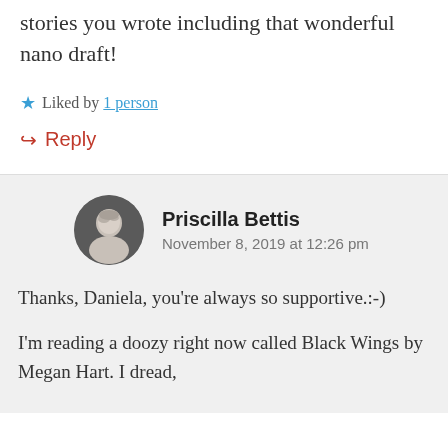stories you wrote including that wonderful nano draft!
Liked by 1 person
Reply
Priscilla Bettis
November 8, 2019 at 12:26 pm
Thanks, Daniela, you're always so supportive.:-)
I'm reading a doozy right now called Black Wings by Megan Hart. I dread,